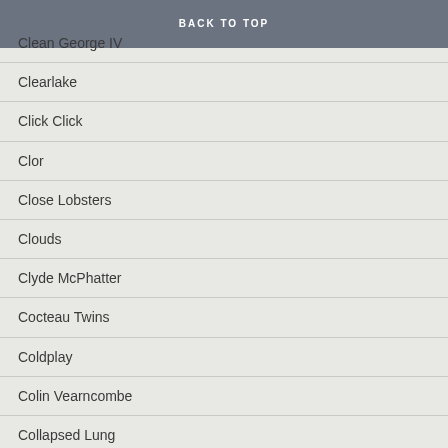BACK TO TOP
Clean George IV
Clearlake
Click Click
Clor
Close Lobsters
Clouds
Clyde McPhatter
Cocteau Twins
Coldplay
Colin Vearncombe
Collapsed Lung
Colorblind James Experience
Colourbox